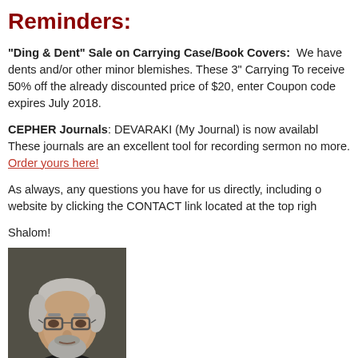Reminders:
"Ding & Dent" Sale on Carrying Case/Book Covers: We have dents and/or other minor blemishes. These 3" Carrying To receive 50% off the already discounted price of $20, enter Coupon code expires July 2018.
CEPHER Journals: DEVARAKI (My Journal) is now available. These journals are an excellent tool for recording sermon notes and more. Order yours here!
As always, any questions you have for us directly, including o website by clicking the CONTACT link located at the top righ
Shalom!
[Figure (photo): Portrait photo of an older man with gray hair and glasses, wearing a dark shirt, against a dark background.]